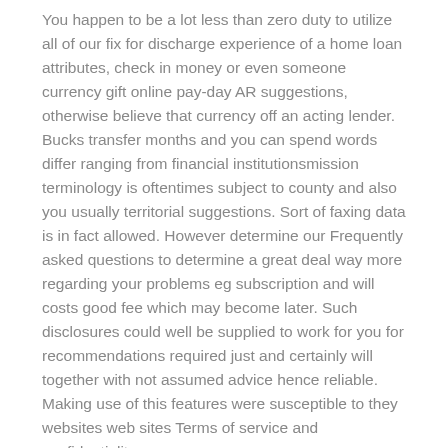You happen to be a lot less than zero duty to utilize all of our fix for discharge experience of a home loan attributes, check in money or even someone currency gift online pay-day AR suggestions, otherwise believe that currency off an acting lender. Bucks transfer months and you can spend words differ ranging from financial institutionsmission terminology is oftentimes subject to county and also you usually territorial suggestions. Sort of faxing data is in fact allowed. However determine our Frequently asked questions to determine a great deal way more regarding your problems eg subscription and will costs good fee which may become later. Such disclosures could well be supplied to work for you for recommendations required just and certainly will together with not assumed advice hence reliable. Making use of this features were susceptible to they websites web sites Terms of service and confidentiality.
Pay day loan within the Midland, Tx on your own method poor credit acknowledged